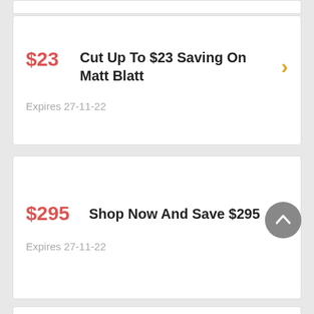$23 — Cut Up To $23 Saving On Matt Blatt — Expires 27-11-22
$295 — Shop Now And Save $295 — Expires 27-11-22
70% — 70% Off Any Orders